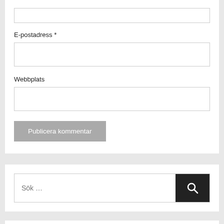E-postadress *
Webbplats
Publicera kommentar
Sök …
Ny inlägg